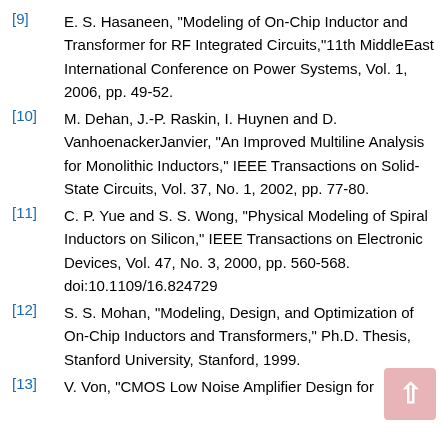[9] E. S. Hasaneen, "Modeling of On-Chip Inductor and Transformer for RF Integrated Circuits,"11th MiddleEast International Conference on Power Systems, Vol. 1, 2006, pp. 49-52.
[10] M. Dehan, J.-P. Raskin, I. Huynen and D. VanhoenackerJanvier, "An Improved Multiline Analysis for Monolithic Inductors," IEEE Transactions on Solid-State Circuits, Vol. 37, No. 1, 2002, pp. 77-80.
[11] C. P. Yue and S. S. Wong, "Physical Modeling of Spiral Inductors on Silicon," IEEE Transactions on Electronic Devices, Vol. 47, No. 3, 2000, pp. 560-568. doi:10.1109/16.824729
[12] S. S. Mohan, "Modeling, Design, and Optimization of On-Chip Inductors and Transformers," Ph.D. Thesis, Stanford University, Stanford, 1999.
[13] V. Von, "CMOS Low Noise Amplifier Design for